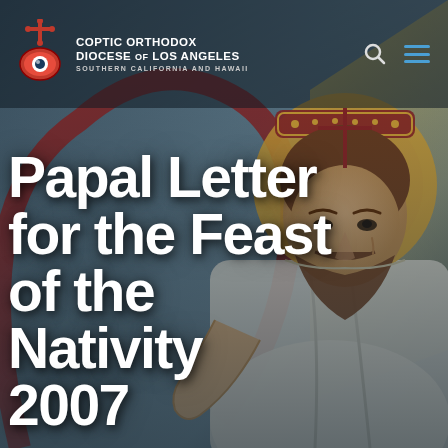[Figure (illustration): Coptic Orthodox icon artwork showing Christ figure with halo, wearing robes, against a stylized background with gold and blue tones. A red curved arch element is visible on the left side.]
COPTIC ORTHODOX DIOCESE of LOS ANGELES SOUTHERN CALIFORNIA and HAWAII
Papal Letter for the Feast of the Nativity 2007